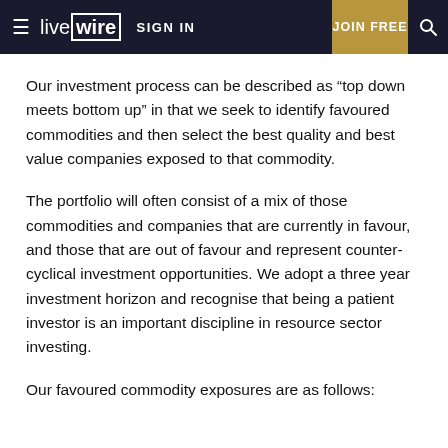live wire | SIGN IN | JOIN FREE
Our investment process can be described as “top down meets bottom up” in that we seek to identify favoured commodities and then select the best quality and best value companies exposed to that commodity.
The portfolio will often consist of a mix of those commodities and companies that are currently in favour, and those that are out of favour and represent counter-cyclical investment opportunities. We adopt a three year investment horizon and recognise that being a patient investor is an important discipline in resource sector investing.
Our favoured commodity exposures are as follows: